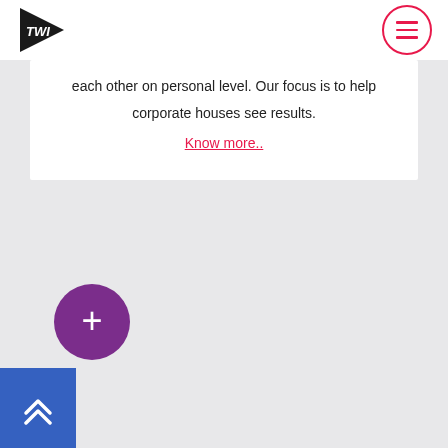TWI logo and menu button
each other on personal level. Our focus is to help corporate houses see results.
Know more..